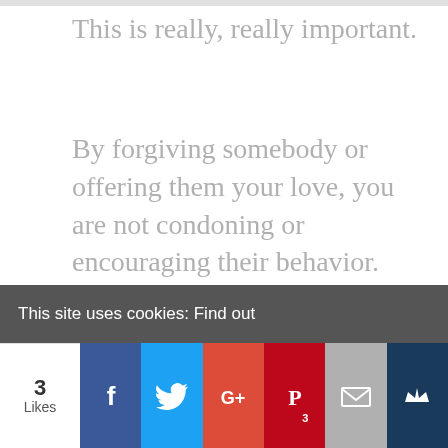This is really, really important.
By forgiving somebody or offering them your love, you are not condoning or encouraging their behavior.
You are, however, rising above it and refusing to let it effect your mental well-being, and that’s because you’re such a crazily cool person.
This site uses cookies: Find out
3 Likes